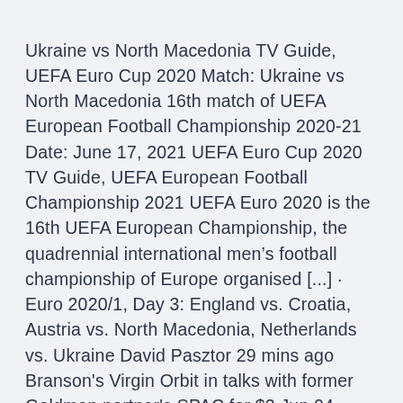Ukraine vs North Macedonia TV Guide, UEFA Euro Cup 2020 Match: Ukraine vs North Macedonia 16th match of UEFA European Football Championship 2020-21 Date: June 17, 2021 UEFA Euro Cup 2020 TV Guide, UEFA European Football Championship 2021 UEFA Euro 2020 is the 16th UEFA European Championship, the quadrennial international men's football championship of Europe organised [...] · Euro 2020/1, Day 3: England vs. Croatia, Austria vs. North Macedonia, Netherlands vs. Ukraine David Pasztor 29 mins ago Branson's Virgin Orbit in talks with former Goldman partner's SPAC for $3 Jun 04, 2021 · Stream Ukraine vs. North Macedonia (Group C) UEFA EURO 2020 on Watch ESPN. Back. 6/17 8:30 AM. Ukraine vs.